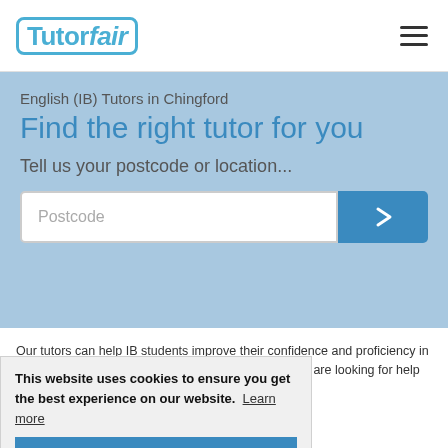[Figure (logo): TutorFair logo — blue rounded rectangle with 'Tutor' bold and 'fair' italic in blue text]
English (IB) Tutors in Chingford
Find the right tutor for you
Tell us your postcode or location...
Postcode
Our tutors can help IB students improve their confidence and proficiency in English. Search by entering the subject and level you are looking for help with, and your postcode to find the right tutor for you.
8 IB English Tutors in Chingford
This website uses cookies to ensure you get the best experience on our website.  Learn more
Got it!
Mylan R